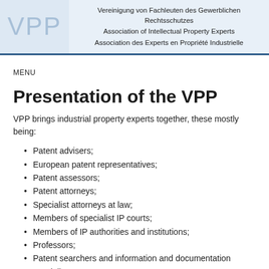VPP | Vereinigung von Fachleuten des Gewerblichen Rechtsschutzes | Association of Intellectual Property Experts | Association des Experts en Propriété Industrielle
MENU
Presentation of the VPP
VPP brings industrial property experts together, these mostly being:
Patent advisers;
European patent representatives;
Patent assessors;
Patent attorneys;
Specialist attorneys at law;
Members of specialist IP courts;
Members of IP authorities and institutions;
Professors;
Patent searchers and information and documentation specialists;